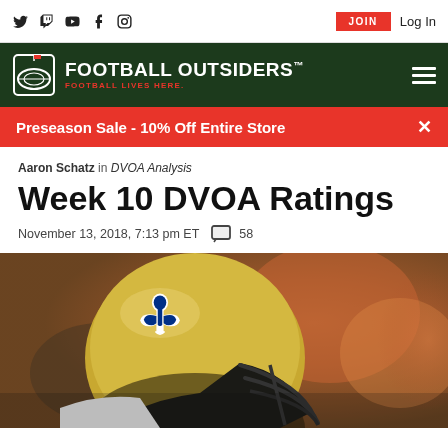Football Outsiders - Football Lives Here.
Preseason Sale - 10% Off Entire Store
Aaron Schatz in DVOA Analysis
Week 10 DVOA Ratings
November 13, 2018, 7:13 pm ET  58
[Figure (photo): Close-up photo of a New Orleans Saints player wearing a gold helmet with the Saints fleur-de-lis logo, facing right, with a blurred orange/red background]